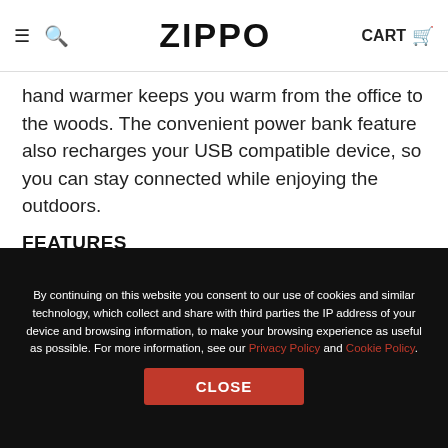ZIPPO  CART
hand warmer keeps you warm from the office to the woods. The convenient power bank feature also recharges your USB compatible device, so you can stay connected while enjoying the outdoors.
FEATURES
Charges USB compatible devices including; mobile phones, Mp3 players, tablets, cameras, etc.
Dual sided heat up to 113°F/45°C operating temperature with higher heat setting for adjustable...
By continuing on this website you consent to our use of cookies and similar technology, which collect and share with third parties the IP address of your device and browsing information, to make your browsing experience as useful as possible. For more information, see our Privacy Policy and Cookie Policy.